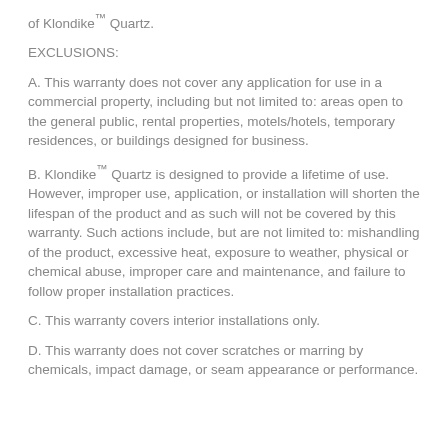of Klondike™ Quartz.
EXCLUSIONS:
A. This warranty does not cover any application for use in a commercial property, including but not limited to: areas open to the general public, rental properties, motels/hotels, temporary residences, or buildings designed for business.
B. Klondike™ Quartz is designed to provide a lifetime of use. However, improper use, application, or installation will shorten the lifespan of the product and as such will not be covered by this warranty. Such actions include, but are not limited to: mishandling of the product, excessive heat, exposure to weather, physical or chemical abuse, improper care and maintenance, and failure to follow proper installation practices.
C. This warranty covers interior installations only.
D. This warranty does not cover scratches or marring by chemicals, impact damage, or seam appearance or performance.